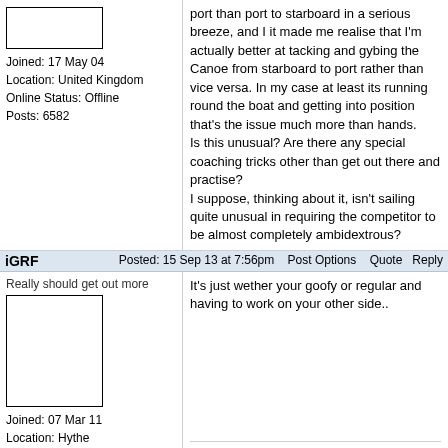port than port to starboard in a serious breeze, and I it made me realise that I'm actually better at tacking and gybing the Canoe from starboard to port rather than vice versa. In my case at least its running round the boat and getting into position that's the issue much more than hands.
Is this unusual? Are there any special coaching tricks other than get out there and practise?
I suppose, thinking about it, isn't sailing quite unusual in requiring the competitor to be almost completely ambidextrous?
Joined: 17 May 04
Location: United Kingdom
Online Status: Offline
Posts: 6582
iGRF
Really should get out more
Posted: 15 Sep 13 at 7:56pm   Post Options   Quote   Reply
It's just wether your goofy or regular and having to work on your other side..
Joined: 07 Mar 11
Location: Hythe
Online Status: Offline
Posts: 6490
Snow Equipment Deals    New Core Kite website
Mister Nick
Far too distracted from work
Posted: 15 Sep 13 at 8:00pm   Post Options   Quote   Reply
I guess your foot placement and movement is just better going one way. Kind of like skiing really, I turn much better one way than the other.